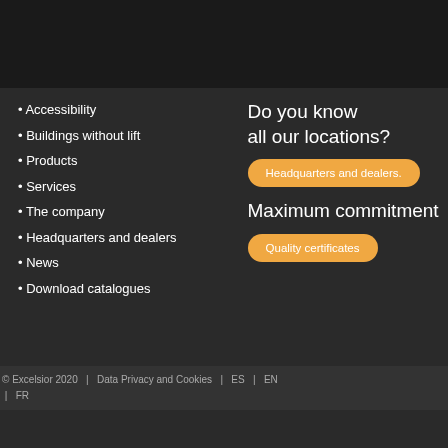Accessibility
Buildings without lift
Products
Services
The company
Headquarters and dealers
News
Download catalogues
Do you know all our locations?
Headquarters and dealers.
Maximum commitment
Quality certificates
© Excelsior 2020  |  Data Privacy and Cookies  |  ES  |  EN  |  FR